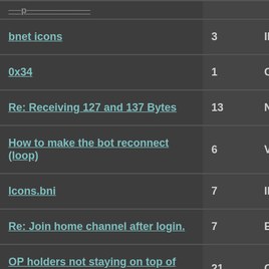| Topic | Replies | Author |
| --- | --- | --- |
| bnet icons | 3 | ILurker |
| 0x34 | 1 | Camel |
| Re: Receiving 127 and 137 Bytes | 13 | Noodlez |
| How to make the bot reconnect (loop) | 6 | Vaxel |
| Icons.bni | 7 | ILurker |
| Re: Join home channel after login. | 7 | Eibro |
| OP holders not staying on top of listview. | 21 | Crypticflare |